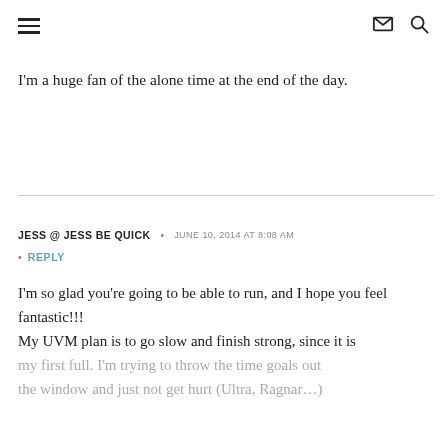≡  ✉  🔍
I'm a huge fan of the alone time at the end of the day.
JESS @ JESS BE QUICK • JUNE 10, 2014 AT 8:08 AM
• REPLY
I'm so glad you're going to be able to run, and I hope you feel fantastic!!! My UVM plan is to go slow and finish strong, since it is my first full. I'm trying to throw the time goals out the window and just not get hurt (Ultra, Ragnar…)